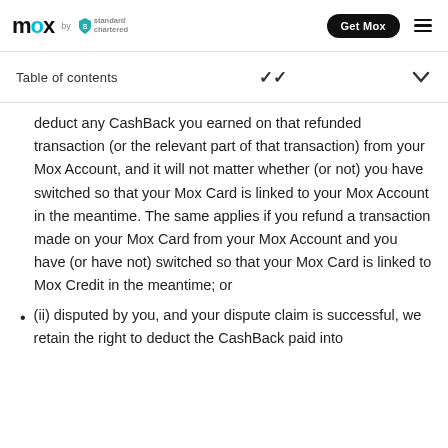mox by Standard Chartered — Get Mox
Table of contents
deduct any CashBack you earned on that refunded transaction (or the relevant part of that transaction) from your Mox Account, and it will not matter whether (or not) you have switched so that your Mox Card is linked to your Mox Account in the meantime. The same applies if you refund a transaction made on your Mox Card from your Mox Account and you have (or have not) switched so that your Mox Card is linked to Mox Credit in the meantime; or
(ii) disputed by you, and your dispute claim is successful, we retain the right to deduct the CashBack paid into your Mox Account on that transaction from your Mox